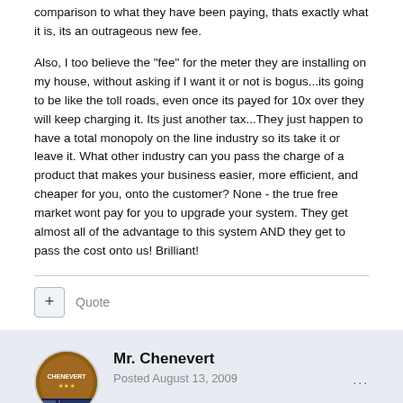comparison to what they have been paying, thats exactly what it is, its an outrageous new fee.
Also, I too believe the "fee" for the meter they are installing on my house, without asking if I want it or not is bogus...its going to be like the toll roads, even once its payed for 10x over they will keep charging it. Its just another tax...They just happen to have a total monopoly on the line industry so its take it or leave it. What other industry can you pass the charge of a product that makes your business easier, more efficient, and cheaper for you, onto the customer? None - the true free market wont pay for you to upgrade your system. They get almost all of the advantage to this system AND they get to pass the cost onto us! Brilliant!
+ Quote
Mr. Chenevert
Posted August 13, 2009